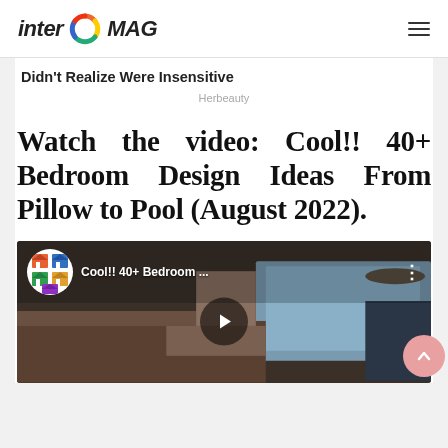inter MAG
Didn't Realize Were Insensitive
Herbeauty
Watch the video: Cool!! 40+ Bedroom Design Ideas From Pillow to Pool (August 2022).
[Figure (screenshot): YouTube video thumbnail showing 'Cool!! 40+ Bedroom ...' with a play button and bedroom interior scene]